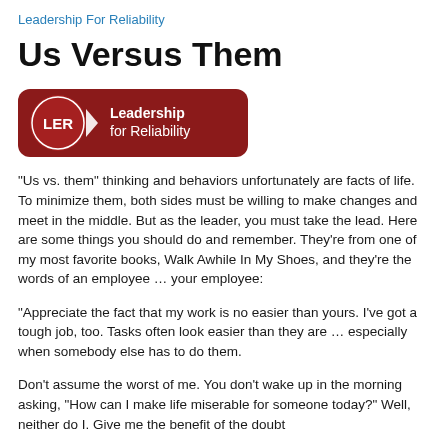Leadership For Reliability
Us Versus Them
[Figure (logo): LER Leadership for Reliability logo — dark red rounded rectangle with circle badge on left containing 'LER' in white, and text 'Leadership for Reliability' in white on the right]
"Us vs. them" thinking and behaviors unfortunately are facts of life. To minimize them, both sides must be willing to make changes and meet in the middle. But as the leader, you must take the lead. Here are some things you should do and remember. They're from one of my most favorite books, Walk Awhile In My Shoes, and they're the words of an employee … your employee:
"Appreciate the fact that my work is no easier than yours. I've got a tough job, too. Tasks often look easier than they are … especially when somebody else has to do them.
Don't assume the worst of me. You don't wake up in the morning asking, "How can I make life miserable for someone today?" Well, neither do I. Give me the benefit of the doubt